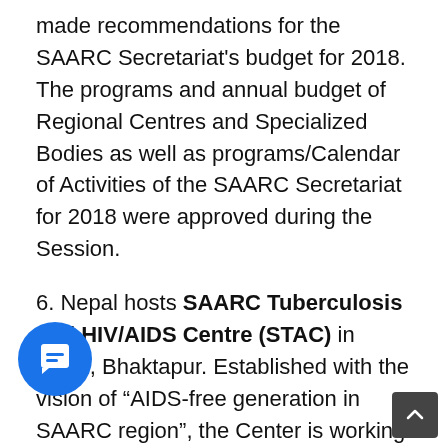made recommendations for the SAARC Secretariat's budget for 2018. The programs and annual budget of Regional Centres and Specialized Bodies as well as programs/Calendar of Activities of the SAARC Secretariat for 2018 were approved during the Session.
6. Nepal hosts SAARC Tuberculosis and HIV/AIDS Centre (STAC) in Thimi, Bhaktapur. Established with the vision of "AIDS-free generation in SAARC region", the Center is working for prevention and control of TB and HIV/AIDS in SAARC region. It started functioning as SAARC TB Centre in 1994 and was renamed as SAARC Tuberculosis and HIV/AIDS Centre in November 2007. Upgrading works of SAARC TB Reference Laboratory at the Center to Supra-National Reference Laboratory are going as per the directive of the 18th SAARC Summit. STAC has provided a common platform for regional and international experts to discuss, share ideas